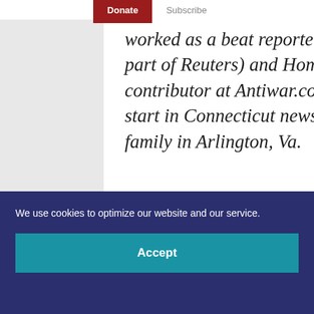Donate  Subscribe
worked as a beat reporter at Bridge News financial wire (now part of Reuters) and Homeland Security Today, and as a regular contributor at Antiwar.com. A native Nutmegger, she got her start in Connecticut newspapers, but now resides with her family in Arlington, Va.
We use cookies to optimize our website and our service.
Accept